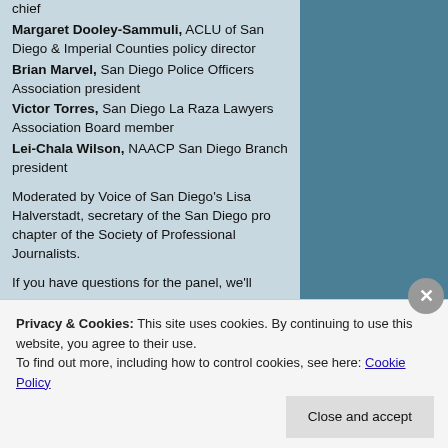chief
Margaret Dooley-Sammuli, ACLU of San Diego & Imperial Counties policy director
Brian Marvel, San Diego Police Officers Association president
Victor Torres, San Diego La Raza Lawyers Association Board member
Lei-Chala Wilson, NAACP San Diego Branch president
Moderated by Voice of San Diego's Lisa Halverstadt, secretary of the San Diego pro chapter of the Society of Professional Journalists.
If you have questions for the panel, we'll
Privacy & Cookies: This site uses cookies. By continuing to use this website, you agree to their use. To find out more, including how to control cookies, see here: Cookie Policy